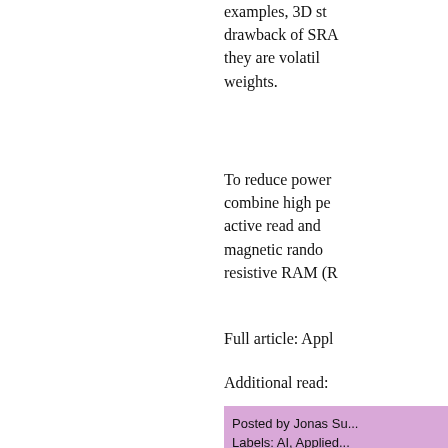examples, 3D st... drawback of SRA... they are volatil... weights.
To reduce power... combine high pe... active read and ... magnetic rando... resistive RAM (R...
Full article: Appl
Additional read:
Posted by Jonas Su...
Labels: AI, Applied...